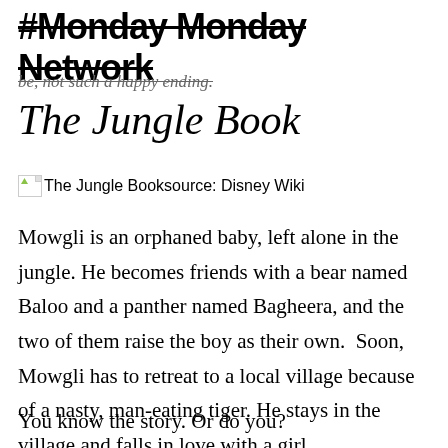#Monday Monday Network
be, not such a happy ending.
The Jungle Book
[Figure (photo): Broken image placeholder with alt text 'The Jungle Book' and caption 'source: Disney Wiki']
Mowgli is an orphaned baby, left alone in the jungle. He becomes friends with a bear named Baloo and a panther named Bagheera, and the two of them raise the boy as their own.  Soon, Mowgli has to retreat to a local village because of a nasty, man-eating tiger. He stays in the village and falls in love with a girl.
You know the story. Or do you?